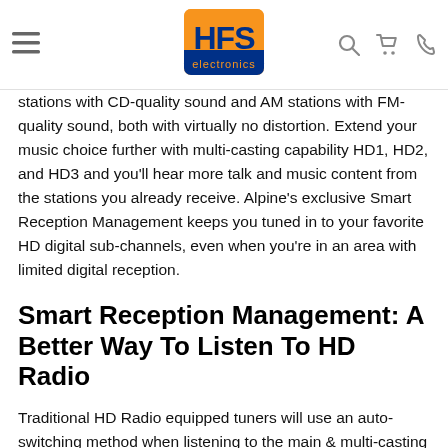HFS Electronics — navigation header with logo, hamburger menu, search, cart, and phone icons
stations with CD-quality sound and AM stations with FM-quality sound, both with virtually no distortion. Extend your music choice further with multi-casting capability HD1, HD2, and HD3 and you'll hear more talk and music content from the stations you already receive. Alpine's exclusive Smart Reception Management keeps you tuned in to your favorite HD digital sub-channels, even when you're in an area with limited digital reception.
Smart Reception Management: A Better Way To Listen To HD Radio
Traditional HD Radio equipped tuners will use an auto-switching method when listening to the main & multi-casting channels. It works really well on the main